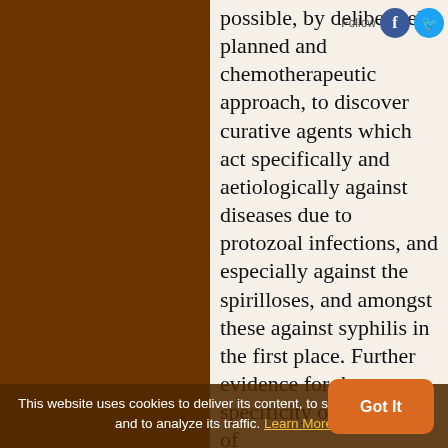possible, by deliberately planned and chemotherapeutic approach, to discover curative agents which act specifically and aetiologically against diseases due to protozoal infections, and especially against the spirilloses, and amongst these against syphilis in the first place. Further evidence for the specificity of the action of dihydroxydiaminoarsenob [Salvarsan '606'] is the disappearance of the Wasserman reaction
This website uses cookies to deliver its content, to show relevant ads and to analyze its traffic. Learn More